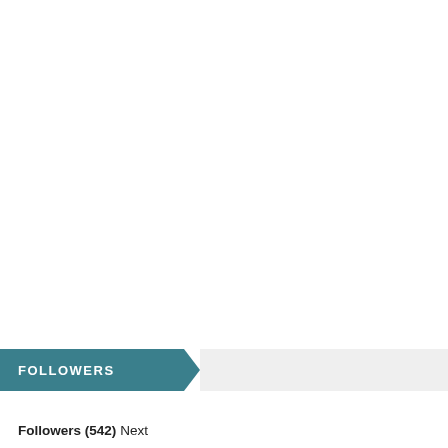FOLLOWERS
Followers (542) Next